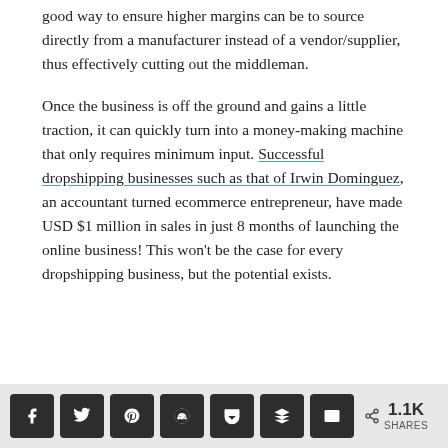good way to ensure higher margins can be to source directly from a manufacturer instead of a vendor/supplier, thus effectively cutting out the middleman.
Once the business is off the ground and gains a little traction, it can quickly turn into a money-making machine that only requires minimum input. Successful dropshipping businesses such as that of Irwin Dominguez, an accountant turned ecommerce entrepreneur, have made USD $1 million in sales in just 8 months of launching the online business! This won't be the case for every dropshipping business, but the potential exists.
Share buttons: f, twitter, pinterest, reddit, pocket, buffer, email | 1.1K SHARES